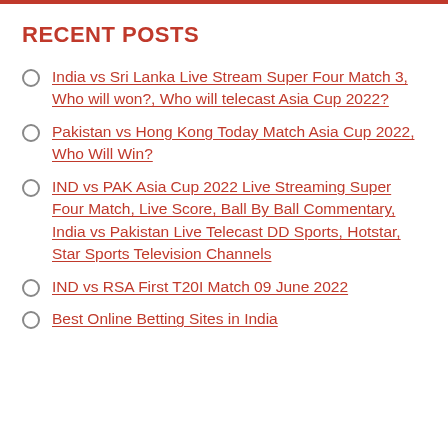RECENT POSTS
India vs Sri Lanka Live Stream Super Four Match 3, Who will won?, Who will telecast Asia Cup 2022?
Pakistan vs Hong Kong Today Match Asia Cup 2022, Who Will Win?
IND vs PAK Asia Cup 2022 Live Streaming Super Four Match, Live Score, Ball By Ball Commentary, India vs Pakistan Live Telecast DD Sports, Hotstar, Star Sports Television Channels
IND vs RSA First T20I Match 09 June 2022
Best Online Betting Sites in India